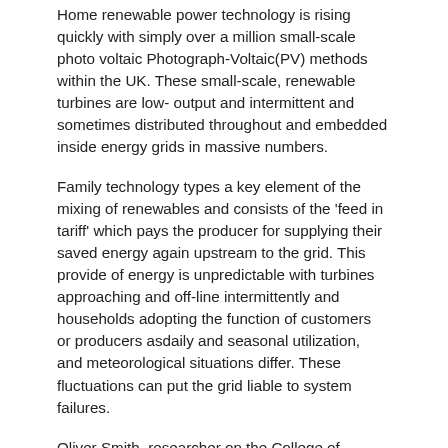Home renewable power technology is rising quickly with simply over a million small-scale photo voltaic Photograph-Voltaic(PV) methods within the UK. These small-scale, renewable turbines are low- output and intermittent and sometimes distributed throughout and embedded inside energy grids in massive numbers.
Family technology types a key element of the mixing of renewables and consists of the 'feed in tariff' which pays the producer for supplying their saved energy again upstream to the grid. This provide of energy is unpredictable with turbines approaching and off-line intermittently and households adopting the function of customers or producers asdaily and seasonal utilization, and meteorological situations differ. These fluctuations can put the grid liable to system failures.
Oliver Smith, researcher on the College of Nottingham led the research, he explains: “The rising proliferation of small, intermittent renewable energy sources is inflicting a fast change within the construction and composition of the ability grid. Certainly, the grid’s efficient construction can